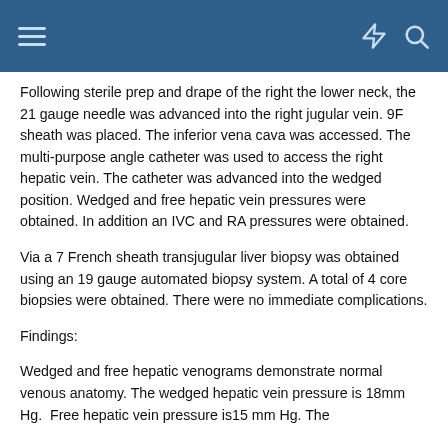Following sterile prep and drape of the right the lower neck, the 21 gauge needle was advanced into the right jugular vein. 9F sheath was placed. The inferior vena cava was accessed. The multi-purpose angle catheter was used to access the right hepatic vein. The catheter was advanced into the wedged position. Wedged and free hepatic vein pressures were obtained. In addition an IVC and RA pressures were obtained.
Via a 7 French sheath transjugular liver biopsy was obtained using an 19 gauge automated biopsy system. A total of 4 core biopsies were obtained. There were no immediate complications.
Findings:
Wedged and free hepatic venograms demonstrate normal venous anatomy. The wedged hepatic vein pressure is 18mm Hg. Free hepatic vein pressure is15 mm Hg. The